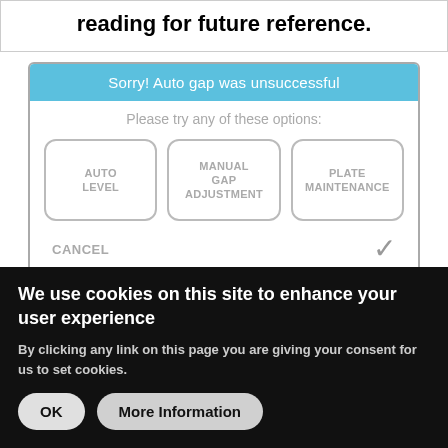reading for future reference.
[Figure (screenshot): Dialog box with blue header 'Sorry! Auto gap was unsuccessful', subtitle 'Please try any of these options:', three buttons (AUTO LEVEL, MANUAL GAP ADJUSTMENT, PLATE MAINTENANCE), CANCEL text and checkmark at bottom.]
Gap Verification
Print a test print from the System 1 menu. Once you have
We use cookies on this site to enhance your user experience
By clicking any link on this page you are giving your consent for us to set cookies.
OK   More Information